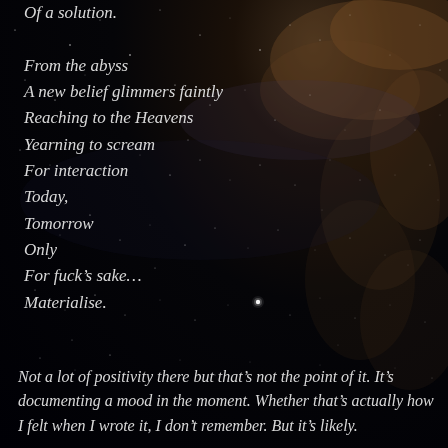[Figure (photo): Night sky with stars and Milky Way galaxy visible, dark background with brownish nebula clouds in upper right corner]
Of a solution.

From the abyss
A new belief glimmers faintly
Reaching to the Heavens
Yearning to scream
For interaction
Today,
Tomorrow
Only
For fuck’s sake…
Materialise.
Not a lot of positivity there but that’s not the point of it. It’s documenting a mood in the moment. Whether that’s actually how I felt when I wrote it, I don’t remember. But it’s likely.